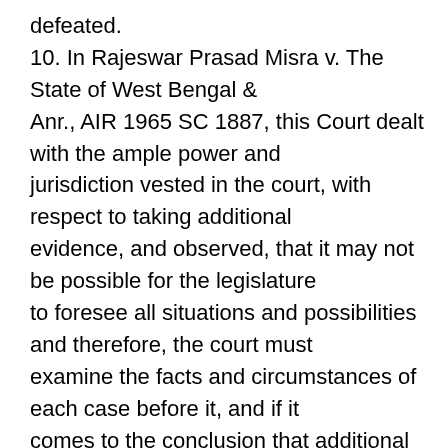defeated. 10. In Rajeswar Prasad Misra v. The State of West Bengal & Anr., AIR 1965 SC 1887, this Court dealt with the ample power and jurisdiction vested in the court, with respect to taking additional evidence, and observed, that it may not be possible for the legislature to foresee all situations and possibilities and therefore, the court must examine the facts and circumstances of each case before it, and if it comes to the conclusion that additional evidence is necessary, not because it would be impossible to pronounce the